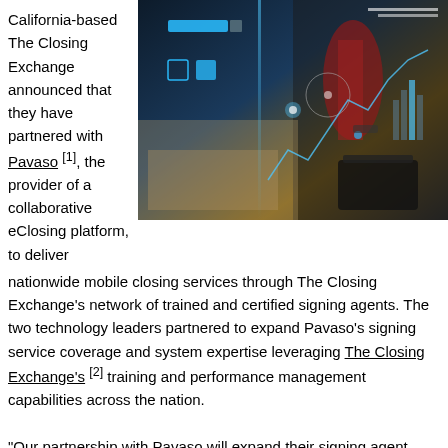California-based The Closing Exchange announced that they have partnered with Pavaso [1], the provider of a collaborative eClosing platform, to deliver nationwide mobile closing services through The Closing Exchange's network of trained and certified signing agents. The two technology leaders partnered to expand Pavaso's signing service coverage and system expertise leveraging The Closing Exchange's [2] training and performance management capabilities across the nation.
[Figure (photo): Technology-themed photo showing hands using digital devices with financial/data overlays and holographic interface elements]
"Our partnership with Pavaso will expand their signing agent network with our vetted, trained and tested notary network," said Alan Frelix